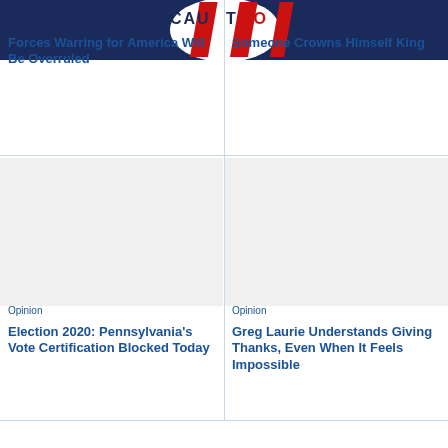[Figure (photo): Caution tape with red and white pattern, partially cropped at top of page]
Forces Warring for America Will Be Overruled
Someone Crowns Himself King
[Figure (photo): Image placeholder for left bottom article]
[Figure (photo): Image placeholder for right bottom article]
Opinion
Election 2020: Pennsylvania's Vote Certification Blocked Today
Opinion
Greg Laurie Understands Giving Thanks, Even When It Feels Impossible